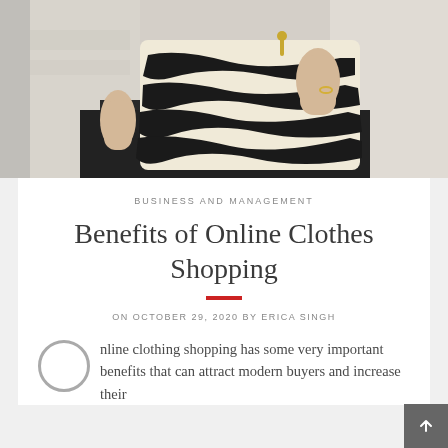[Figure (photo): Close-up photo of a person holding a zebra-print handbag with black and cream stripes. The person is wearing a light knit sweater and dark leather pants, with a ring visible on one hand.]
BUSINESS AND MANAGEMENT
Benefits of Online Clothes Shopping
ON OCTOBER 29, 2020 BY ERICA SINGH
Online clothing shopping has some very important benefits that can attract modern buyers and increase their